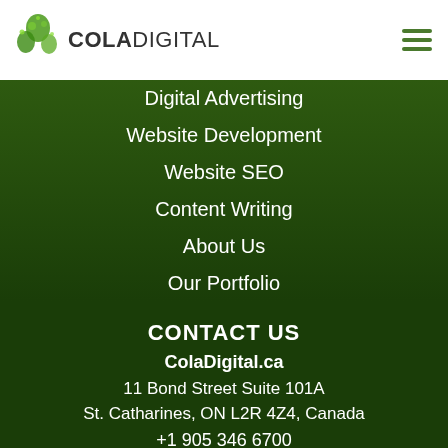[Figure (logo): ColaDigital logo with green leaf/plant graphic and text COLADIGITAL]
Digital Advertising
Website Development
Website SEO
Content Writing
About Us
Our Portfolio
CONTACT US
ColaDigital.ca
11 Bond Street Suite 101A
St. Catharines, ON L2R 4Z4, Canada
+1 905 346 6700